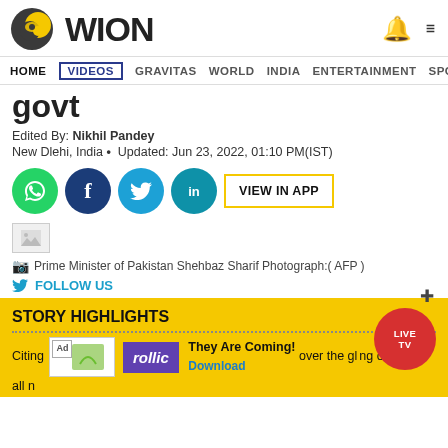WION
HOME VIDEOS GRAVITAS WORLD INDIA ENTERTAINMENT SPORTS
govt
Edited By: Nikhil Pandey
New Dlehi, India • Updated: Jun 23, 2022, 01:10 PM(IST)
[Figure (screenshot): Social sharing buttons: WhatsApp, Facebook, Twitter, LinkedIn and VIEW IN APP button]
[Figure (photo): Small broken image placeholder]
Prime Minister of Pakistan Shehbaz Sharif Photograph:( AFP )
FOLLOW US
STORY HIGHLIGHTS
Citing [Ad overlay] over the gl [Rollic ad - They Are Coming! Download] ng on all n[...]
[Figure (screenshot): LIVE TV red circle button overlay]